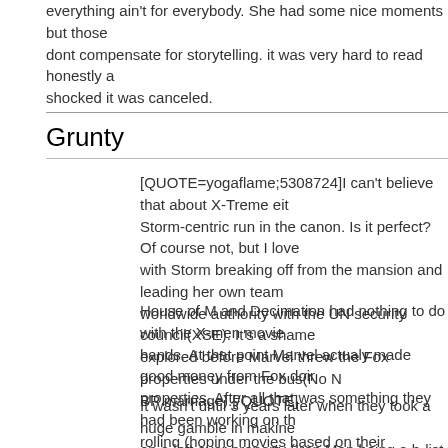everything ain't for everybody. She had some nice moments but those dont compensate for storytelling. it was very hard to read honestly and shocked it was canceled.
Grunty
[QUOTE=yogaflame;5308724]I can't believe that about X-Treme either. Storm-centric run in the canon. Is it perfect? Of course not, but I love with Storm breaking off from the mansion and leading her own team worldwide authority with the UN security council(XSE). It's a shame explored before Marvel threw the Fox properties under the bus(No M BP marriage).[/QUOTE]
House of M and Decimation had nothing to do with the X-men movie hands. At that point Marvel actualy made good money from Fox doing properties. After all that was something they had been working on the rolling (hoping movies based on their properties are made) in the ho buck that could safe their company (Books like Mavel Comics: The insight in how keen they were on expanding their IPs to the cinema) over at Sony.
It wasn't until 3 years later when they took a huge gamble in making on a left over property (Iron Man being a b-list hero in public super h time), with a relative unknown actor/director at the helm and using a actor as star, that the foundation for the Marvel Cinematic Universe after several more successfull movies actualy got them so keen on c